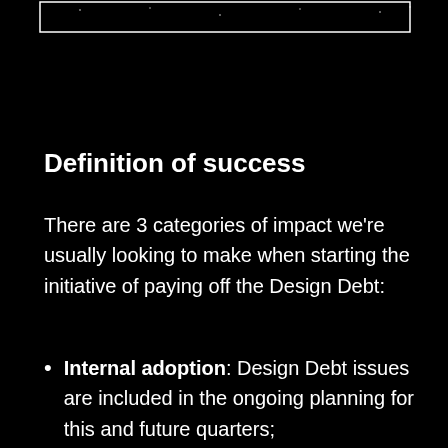[Figure (other): Partial image or chart visible at the very top of the page, showing a white-bordered box against a dark background with faint dot/star pattern.]
Definition of success
There are 3 categories of impact we're usually looking to make when starting the initiative of paying off the Design Debt:
Internal adoption: Design Debt issues are included in the ongoing planning for this and future quarters;